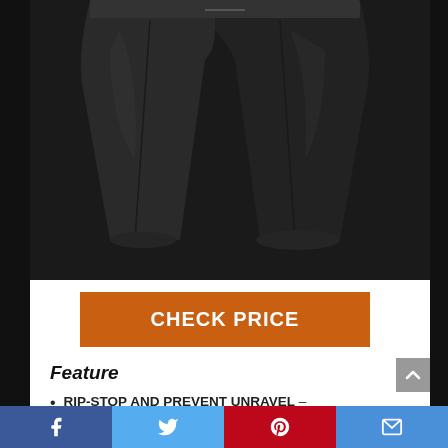[Figure (photo): Black athletic shorts product photo shown from below, displaying the legs and hem of dark black shorts against a white background with black side borders.]
CHECK PRICE
Feature
RIP-STOP AND PREVENT UNRAVEL – Extra-tough double-seam
Facebook | Twitter | Pinterest | Email social share bar